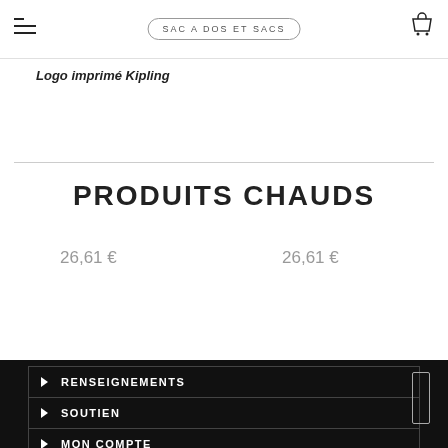SAC A DOS ET SACS
Logo imprimé Kipling
PRODUITS CHAUDS
26,61 €
26,61 €
▸ RENSEIGNEMENTS
▸ SOUTIEN
▸ MON COMPTE